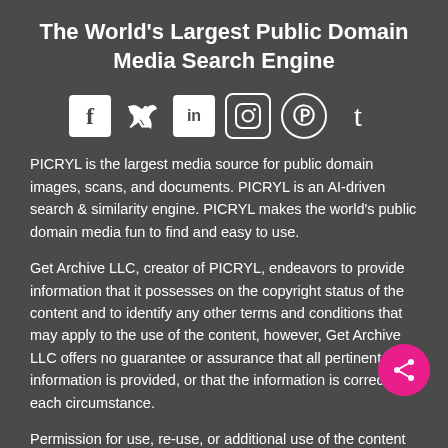The World's Largest Public Domain Media Search Engine
[Figure (infographic): Social media icons row: Facebook (f in white box), Twitter (bird), LinkedIn (in in white box), Instagram (camera circle), Pinterest (P circle), Tumblr (t)]
PICRYL is the largest media source for public domain images, scans, and documents. PICRYL is an AI-driven search & similarity engine. PICRYL makes the world's public domain media fun to find and easy to use.
Get Archive LLC, creator of PICRYL, endeavors to provide information that it possesses on the copyright status of the content and to identify any other terms and conditions that may apply to the use of the content, however, Get Archive LLC offers no guarantee or assurance that all pertinent information is provided, or that the information is correct in each circumstance.
Permission for use, re-use, or additional use of the content required. GetArchive believes there are no usage restrictions limitations put on content in the U.S. Get Archive LLC does not